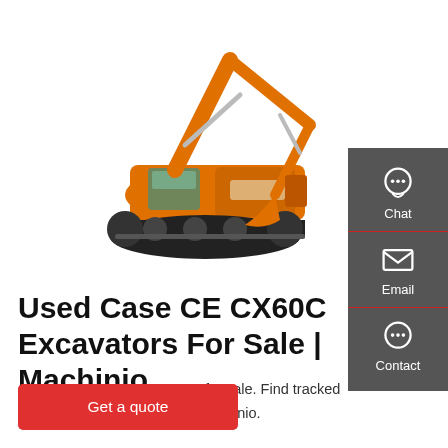[Figure (photo): Orange tracked excavator (Case CE CX60C) shown on white background, with arm extended and bucket visible. Brand marking on arm reads 'Lonking 70-5'.]
Used Case CE CX60C Excavators For Sale | Machinio
Case CE CX60C excavators for sale. Find tracked and wheeled excavators on Machinio.
Get a quote